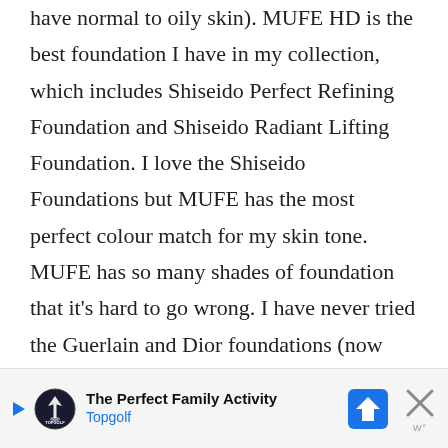have normal to oily skin). MUFE HD is the best foundation I have in my collection, which includes Shiseido Perfect Refining Foundation and Shiseido Radiant Lifting Foundation. I love the Shiseido Foundations but MUFE has the most perfect colour match for my skin tone. MUFE has so many shades of foundation that it’s hard to go wrong. I have never tried the Guerlain and Dior foundations (now you’ve got me curious about them) or Lunasol (not available in the US or Europe, but I’ll check them out in Tokyo this fall). Thanks so
[Figure (other): Advertisement banner for Topgolf: 'The Perfect Family Activity' with Topgolf logo, navigation icon, close button, and watermark]